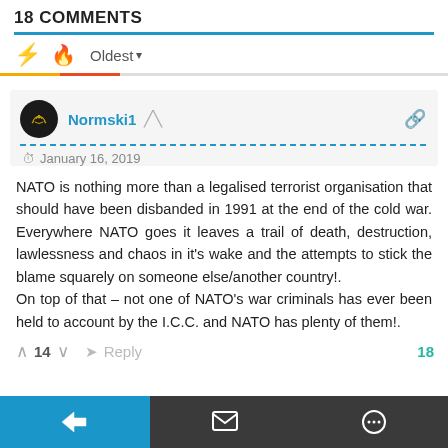18 COMMENTS
Oldest
Normski1   January 16, 2019
NATO is nothing more than a legalised terrorist organisation that should have been disbanded in 1991 at the end of the cold war. Everywhere NATO goes it leaves a trail of death, destruction, lawlessness and chaos in it's wake and the attempts to stick the blame squarely on someone else/another country!.
On top of that – not one of NATO's war criminals has ever been held to account by the I.C.C. and NATO has plenty of them!.
14   Reply   18